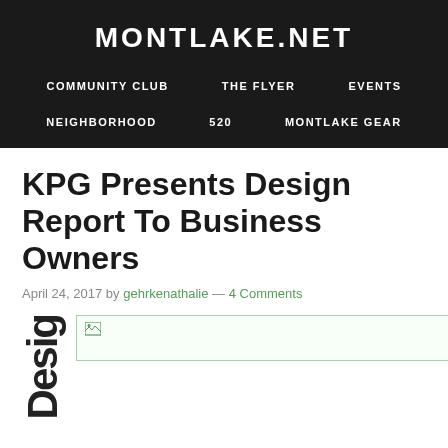MONTLAKE.NET
COMMUNITY CLUB   THE FLYER   EVENTS
NEIGHBORHOOD   520   MONTLAKE GEAR
KPG Presents Design Report To Business Owners
April 24, 2017 by gehrkenathalie — 4 Comments
[Figure (photo): Broken image placeholder for article image]
Desi g